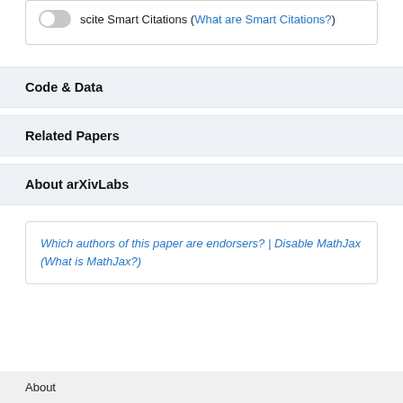scite Smart Citations (What are Smart Citations?)
Code & Data
Related Papers
About arXivLabs
Which authors of this paper are endorsers? | Disable MathJax (What is MathJax?)
About